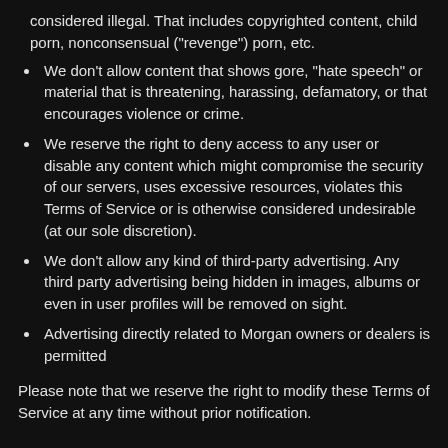considered illegal. That includes copyrighted content, child porn, nonconsensual ("revenge") porn, etc.
We don't allow content that shows gore, "hate speech" or material that is threatening, harassing, defamatory, or that encourages violence or crime.
We reserve the right to deny access to any user or disable any content which might compromise the security of our servers, uses excessive resources, violates this Terms of Service or is otherwise considered undesirable (at our sole discretion).
We don't allow any kind of third-party advertising. Any third party advertising being hidden in images, albums or even in user profiles will be removed on sight.
Advertising directly related to Morgan owners or dealers is permitted
Please note that we reserve the right to modify these Terms of Service at any time without prior notification.